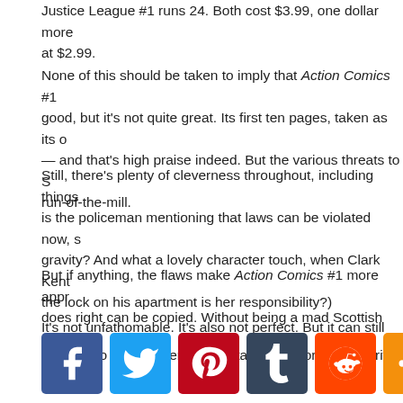Justice League #1 runs 24. Both cost $3.99, one dollar more at $2.99.
None of this should be taken to imply that Action Comics #1 good, but it's not quite great. Its first ten pages, taken as its o — and that's high praise indeed. But the various threats to S run-of-the-mill.
Still, there's plenty of cleverness throughout, including things is the policeman mentioning that laws can be violated now, s gravity? And what a lovely character touch, when Clark Kent the lock on his apartment is her responsibility?)
But if anything, the flaws make Action Comics #1 more appr does right can be copied. Without being a mad Scottish geni
It's not unfathomable. It's also not perfect. But it can still serv
For how to write Superman, certainly. But for how to write su
[Figure (other): Social media share buttons: Facebook, Twitter, Pinterest, Tumblr, Reddit, More]